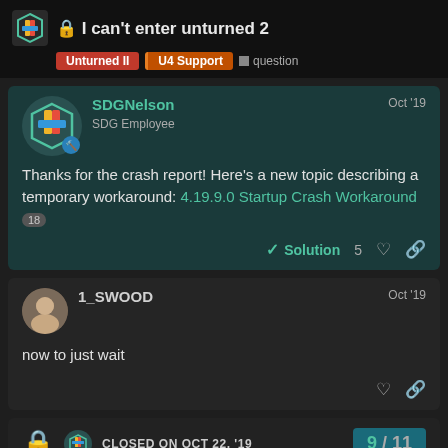🔒 I can't enter unturned 2 | Unturned II | U4 Support | question
SDGNelson — SDG Employee — Oct '19
Thanks for the crash report! Here's a new topic describing a temporary workaround: 4.19.9.0 Startup Crash Workaround [18]
✓ Solution  5 ♡ 🔗
1_SWOOD — Oct '19
now to just wait
♡ 🔗
CLOSED ON OCT 22, '19  9 / 11
This topic was automatically close